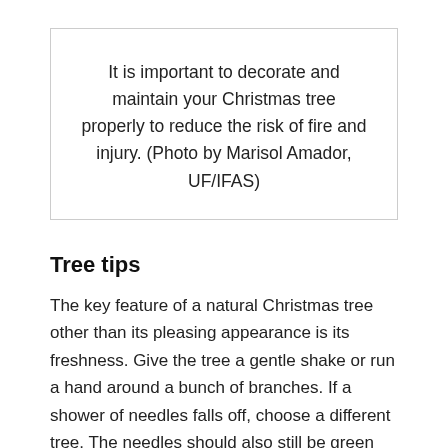It is important to decorate and maintain your Christmas tree properly to reduce the risk of fire and injury. (Photo by Marisol Amador, UF/IFAS)
Tree tips
The key feature of a natural Christmas tree other than its pleasing appearance is its freshness. Give the tree a gentle shake or run a hand around a bunch of branches. If a shower of needles falls off, choose a different tree. The needles should also still be green and pliable to the touch. Trees purchased closer to Christmas have probably been sitting in